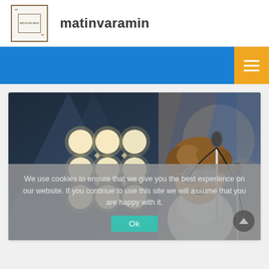[Figure (logo): matinvaramin site logo: square border with quotation marks and small inner rectangle with site name text]
matinvaramin
[Figure (other): Blue navigation bar with orange hamburger menu button on the right]
[Figure (photo): Concert photo of a male singer with shaggy hair and round sunglasses singing into a microphone, with bright stage lights in the background]
We use cookies to ensure that we give you the best experience on our website. If you continue to use this site we will assume that you are happy with it.